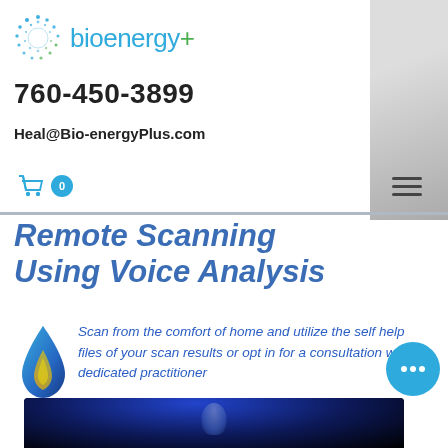[Figure (logo): bioenergy+ logo with circular dot pattern and blue-green text]
760-450-3899
Heal@Bio-energyPlus.com
[Figure (infographic): Shopping cart icon with count 0 badge; hamburger menu icon]
Remote Scanning Using Voice Analysis
[Figure (illustration): Blue and gold flame/water drop icon]
Scan from the comfort of home and utilize the self help files of your scan results or opt in for a consultation with a dedicated practitioner
[Figure (photo): Dark blue lit face/portrait at bottom of page]